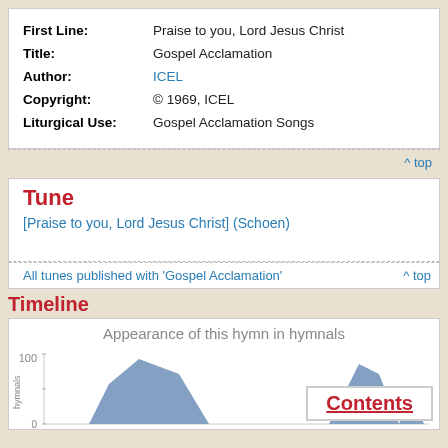| Field | Value |
| --- | --- |
| First Line: | Praise to you, Lord Jesus Christ |
| Title: | Gospel Acclamation |
| Author: | ICEL |
| Copyright: | © 1969, ICEL |
| Liturgical Use: | Gospel Acclamation Songs |
^ top
Tune
[Praise to you, Lord Jesus Christ] (Schoen)
All tunes published with 'Gospel Acclamation'
^ top
Timeline
[Figure (area-chart): Area chart showing appearance of hymn in hymnals over time, y-axis up to 100]
Contents